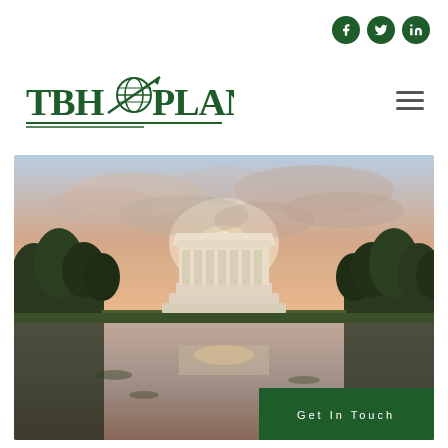[Figure (logo): TBH Plan logo with globe/compass graphic between TBH and PLAN text in dark green]
[Figure (photo): Sunset view of the Lincoln Memorial reflected in the Reflecting Pool in Washington DC, surrounded by trees, with an orange and purple sky. A dark green 'Get In Touch' button overlays the bottom right of the image.]